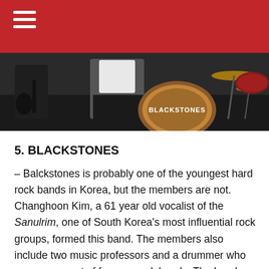[Figure (photo): Band photo showing musicians on stage; a bass drum with 'BLACKSTONES' written on it is visible in the background along with drum kit and performers.]
5. BLACKSTONES
– Balckstones is probably one of the youngest hard rock bands in Korea, but the members are not. Changhoon Kim, a 61 year old vocalist of the Sanulrim, one of South Korea's most influential rock groups, formed this band. The members also include two music professors and a drummer who were once part of famous rock bands. The band plans to reinterpret songs previously released by Sanulrim and release their first album with new songs in early 2018.